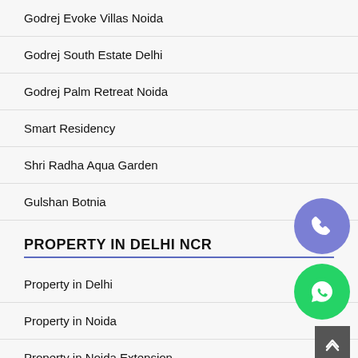Godrej Evoke Villas Noida
Godrej South Estate Delhi
Godrej Palm Retreat Noida
Smart Residency
Shri Radha Aqua Garden
Gulshan Botnia
PROPERTY IN DELHI NCR
Property in Delhi
Property in Noida
Property in Noida Extension
Property in Greater Noida
Property in Yamuna Expressway
Property in Ghaziabad